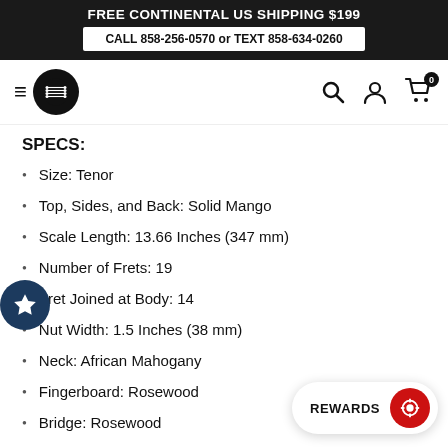FREE CONTINENTAL US SHIPPING $199
CALL 858-256-0570 or TEXT 858-634-0260
[Figure (logo): Navigation bar with hamburger menu, guitar logo, search icon, account icon, and cart icon with badge 0]
SPECS:
Size: Tenor
Top, Sides, and Back: Solid Mango
Scale Length: 13.66 Inches (347 mm)
Number of Frets: 19
Fret Joined at Body: 14
Nut Width: 1.5 Inches (38 mm)
Neck: African Mahogany
Fingerboard: Rosewood
Bridge: Rosewood